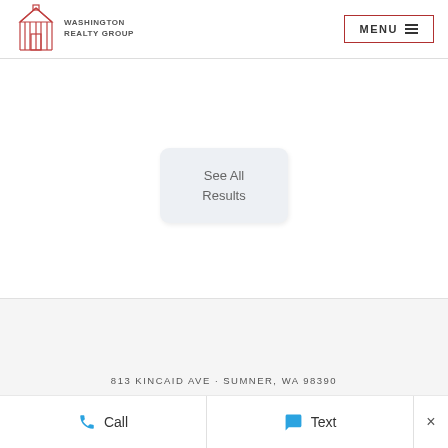[Figure (logo): Washington Realty Group logo with barn/house icon in red sketch style and text WASHINGTON REALTY GROUP]
MENU ≡
See All Results
813 KINCAID AVE · SUMNER, WA 98390
Call
Text
×